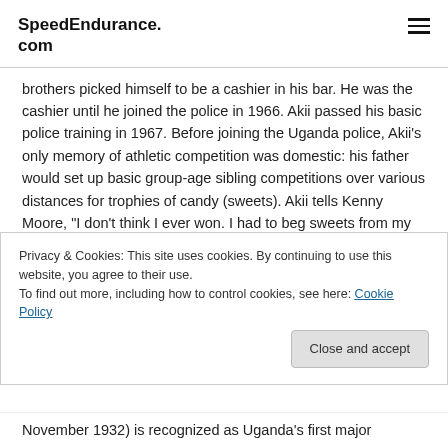SpeedEndurance.com
brothers picked himself to be a cashier in his bar. He was the cashier until he joined the police in 1966. Akii passed his basic police training in 1967. Before joining the Uganda police, Akii’s only memory of athletic competition was domestic: his father would set up basic group-age sibling competitions over various distances for trophies of candy (sweets). Akii tells Kenny Moore, “I don’t think I ever won. I had to beg sweets from my brothers” (“Sports Illustrated”: ‘A
Privacy & Cookies: This site uses cookies. By continuing to use this website, you agree to their use.
To find out more, including how to control cookies, see here: Cookie Policy
November 1932) is recognized as Uganda’s first major